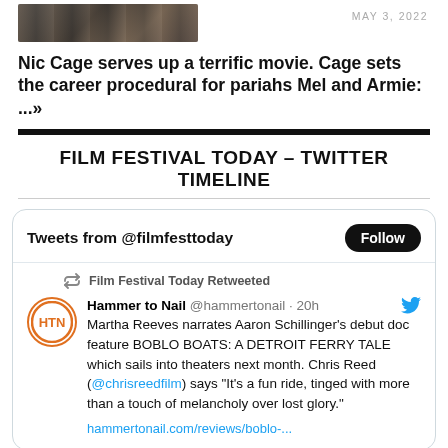[Figure (photo): Cropped image of people, partially visible at top of page]
MAY 3, 2022
Nic Cage serves up a terrific movie. Cage sets the career procedural for pariahs Mel and Armie: ...>>
FILM FESTIVAL TODAY – TWITTER TIMELINE
Tweets from @filmfesttoday
Follow
Film Festival Today Retweeted
Hammer to Nail @hammertonail · 20h
Martha Reeves narrates Aaron Schillinger's debut doc feature BOBLO BOATS: A DETROIT FERRY TALE which sails into theaters next month. Chris Reed (@chrisreedfilm) says "It's a fun ride, tinged with more than a touch of melancholy over lost glory."
hammertonail.com/reviews/boblo-...